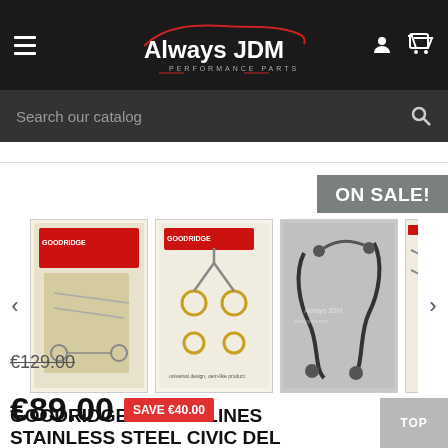Always JDM Performance Parts
Search our catalog
ON SALE!
[Figure (photo): Product carousel showing three Goodridge brake line kit product images]
GOODRIDGE BRAKE LINES STAINLESS STEEL CIVIC DEL SOL
€129.00 (crossed out original price)
€89.00  SAVE €40.00